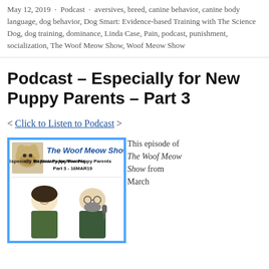May 12, 2019 · Podcast · aversives, breed, canine behavior, canine body language, dog behavior, Dog Smart: Evidence-based Training with The Science Dog, dog training, dominance, Linda Case, Pain, podcast, punishment, socialization, The Woof Meow Show, Woof Meow Show
Podcast – Especially for New Puppy Parents – Part 3
< Click to Listen to Podcast >
[Figure (illustration): The Woof Meow Show podcast cover image with blue border. Shows a golden retriever puppy photo in top-left, title 'The Woof Meow Show' in blue italic bold text, subtitle 'Especially for New Puppy Parents Part 3 - 16MAR19' in black bold, and two hosts (woman on left, man on right with microphone) in the lower portion of the image.]
This episode of The Woof Meow Show from March